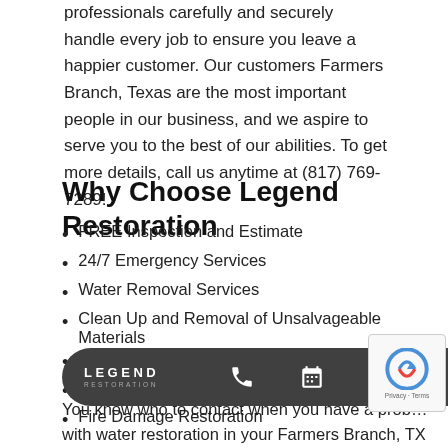professionals carefully and securely handle every job to ensure you leave a happier customer. Our customers Farmers Branch, Texas are the most important people in our business, and we aspire to serve you to the best of our abilities. To get more details, call us anytime at (817) 769-7289!
Why Choose Legend Restoration
FREE Inspection and Estimate
24/7 Emergency Services
Water Removal Services
Clean Up and Removal of Unsalvageable Materials
Structural Drying
Water Damage Restoration and Repair
Fire Damage Restoration
You know who to contact when you have a prob… with water restoration in your Farmers Branch, TX